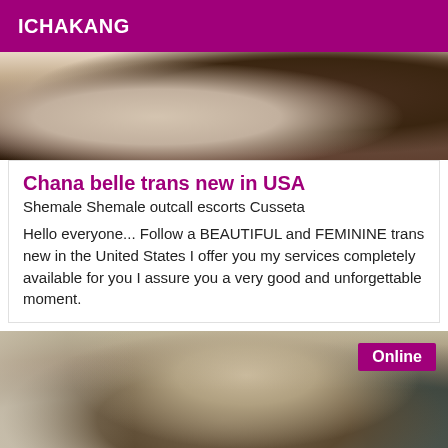ICHAKANG
[Figure (photo): Close-up photo showing skin and dark textured fabric/hair]
Chana belle trans new in USA
Shemale Shemale outcall escorts Cusseta
Hello everyone... Follow a BEAUTIFUL and FEMININE trans new in the United States I offer you my services completely available for you I assure you a very good and unforgettable moment.
[Figure (photo): Person taking a mirror selfie with a smartphone, brown hair, indoor setting with mirror and closet]
Online